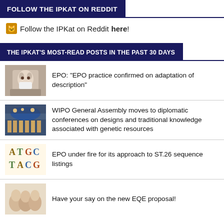FOLLOW THE IPKAT ON REDDIT
Follow the IPKat on Reddit here!
THE IPKAT'S MOST-READ POSTS IN THE PAST 30 DAYS
[Figure (photo): Photo of a cat sitting among torn paper]
EPO: "EPO practice confirmed on adaptation of description"
[Figure (photo): Photo of a large assembly hall with delegates]
WIPO General Assembly moves to diplomatic conferences on designs and traditional knowledge associated with genetic resources
[Figure (illustration): Illustration showing DNA sequence letters A T G C T A C G]
EPO under fire for its approach to ST.26 sequence listings
[Figure (photo): Photo of cats]
Have your say on the new EQE proposal!